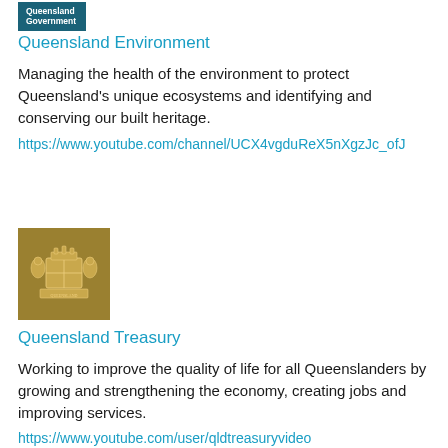[Figure (logo): Queensland Government teal logo with text 'Queensland Government']
Queensland Environment
Managing the health of the environment to protect Queensland's unique ecosystems and identifying and conserving our built heritage.
https://www.youtube.com/channel/UCX4vgduReX5nXgzJc_ofJ
[Figure (logo): Queensland Treasury gold/tan coat of arms logo on gold background]
Queensland Treasury
Working to improve the quality of life for all Queenslanders by growing and strengthening the economy, creating jobs and improving services.
https://www.youtube.com/user/qldtreasuryvideo